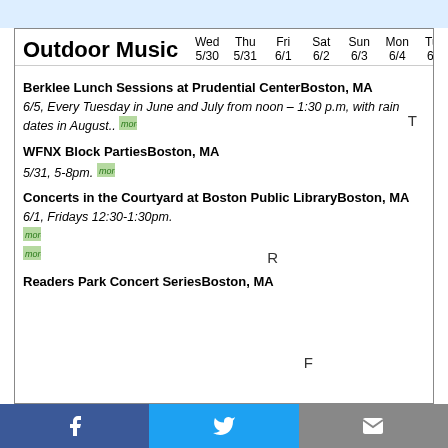Outdoor Music
|  | Wed 5/30 | Thu 5/31 | Fri 6/1 | Sat 6/2 | Sun 6/3 | Mon 6/4 | Tue 6/5 |
| --- | --- | --- | --- | --- | --- | --- | --- |
| Berklee Lunch Sessions at Prudential CenterBoston, MA
6/5, Every Tuesday in June and July from noon – 1:30 p.m, with rain dates in August.. |  |  |  |  |  |  | T |
| WFNX Block PartiesBoston, MA
5/31, 5-8pm. |  | R |  |  |  |  |  |
| Concerts in the Courtyard at Boston Public LibraryBoston, MA
6/1, Fridays 12:30-1:30pm. |  |  | F |  |  |  |  |
| Readers Park Concert SeriesBoston, MA |  |  |  |  |  |  |  |